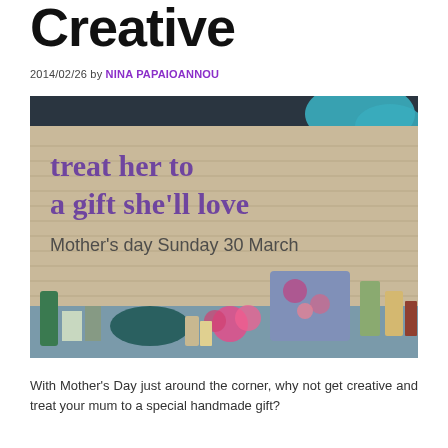Creative
2014/02/26 by NINA PAPAIOANNOU
[Figure (photo): Shop window display with text 'treat her to a gift she'll love' and 'Mother's day Sunday 30 March' overlaid on a brick wall background, with various gift products displayed in the foreground including bottles, cushions, and floral items.]
With Mother's Day just around the corner, why not get creative and treat your mum to a special handmade gift?